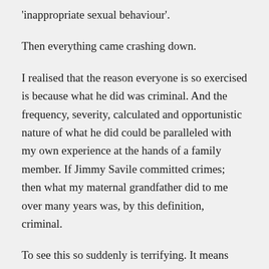‘inappropriate sexual behaviour’.
Then everything came crashing down.
I realised that the reason everyone is so exercised is because what he did was criminal. And the frequency, severity, calculated and opportunistic nature of what he did could be paralleled with my own experience at the hands of a family member. If Jimmy Savile committed crimes; then what my maternal grandfather did to me over many years was, by this definition, criminal.
To see this so suddenly is terrifying. It means that I have experienced something, indeed many things, which are ‘officially wrong’. Wrong according to society, wrong according to the legal system, wrong in the eyes of most individuals. There is an externally validated yardstick to